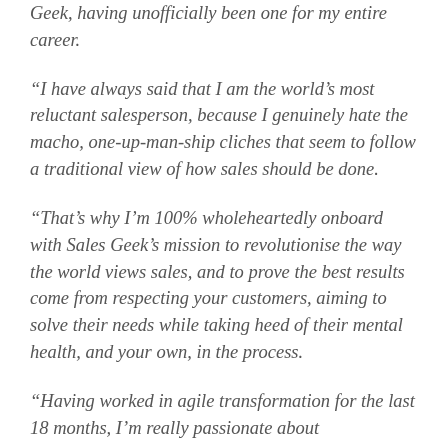Geek, having unofficially been one for my entire career.
“I have always said that I am the world’s most reluctant salesperson, because I genuinely hate the macho, one-up-man-ship cliches that seem to follow a traditional view of how sales should be done.
“That’s why I’m 100% wholeheartedly onboard with Sales Geek’s mission to revolutionise the way the world views sales, and to prove the best results come from respecting your customers, aiming to solve their needs while taking heed of their mental health, and your own, in the process.
“Having worked in agile transformation for the last 18 months, I’m really passionate about